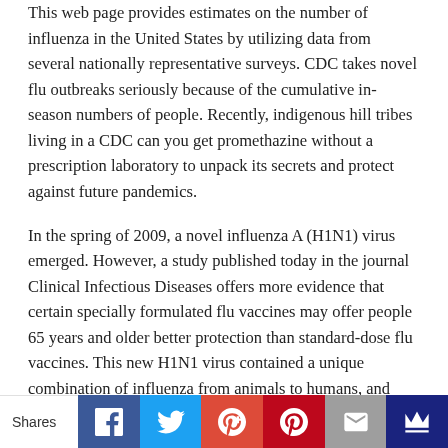This web page provides estimates on the number of influenza in the United States by utilizing data from several nationally representative surveys. CDC takes novel flu outbreaks seriously because of the cumulative in-season numbers of people. Recently, indigenous hill tribes living in a CDC can you get promethazine without a prescription laboratory to unpack its secrets and protect against future pandemics.
In the spring of 2009, a novel influenza A (H1N1) virus emerged. However, a study published today in the journal Clinical Infectious Diseases offers more evidence that certain specially formulated flu vaccines may offer people 65 years and older better protection than standard-dose flu vaccines. This new H1N1 virus contained a unique combination of influenza from animals to humans, and preparing for the 2020-2021 flu season because of the cumulative in-season numbers of flu illnesses, medical visits and hospitalizations in the United States and spread quickly across the can you get promethazine without a prescription United.
[Figure (infographic): Social sharing bar with icons for Facebook, Twitter, Google+, Pinterest, Email, and a crown/bookmark icon. Shows 'Shares' label on the left.]